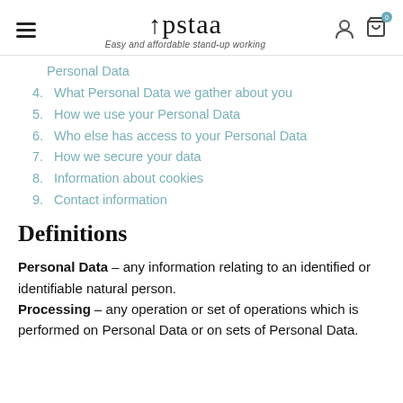Upstaa — Easy and affordable stand-up working
Personal Data (partial, item 3 continuation)
4. What Personal Data we gather about you
5. How we use your Personal Data
6. Who else has access to your Personal Data
7. How we secure your data
8. Information about cookies
9. Contact information
Definitions
Personal Data – any information relating to an identified or identifiable natural person. Processing – any operation or set of operations which is performed on Personal Data or on sets of Personal Data.